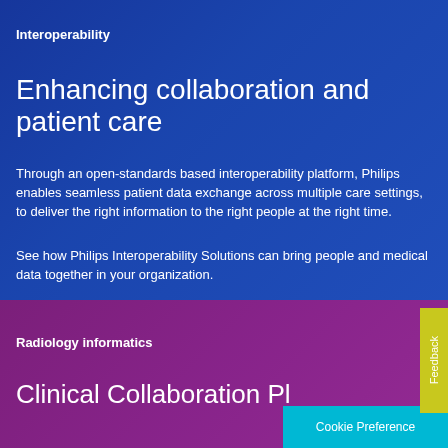Interoperability
Enhancing collaboration and patient care
Through an open-standards based interoperability platform, Philips enables seamless patient data exchange across multiple care settings, to deliver the right information to the right people at the right time.
See how Philips Interoperability Solutions can bring people and medical data together in your organization.
Discover more
Radiology informatics
Clinical Collaboration Platform